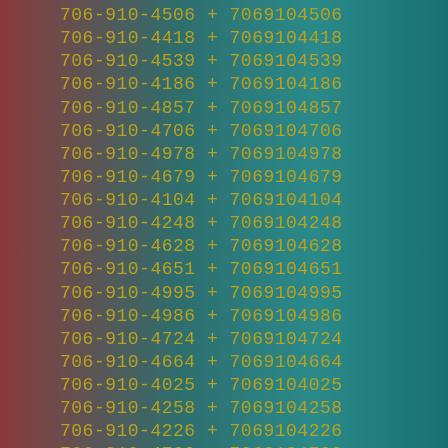706-910-4506 + 7069104506
706-910-4418 + 7069104418
706-910-4539 + 7069104539
706-910-4186 + 7069104186
706-910-4857 + 7069104857
706-910-4706 + 7069104706
706-910-4978 + 7069104978
706-910-4679 + 7069104679
706-910-4104 + 7069104104
706-910-4248 + 7069104248
706-910-4628 + 7069104628
706-910-4651 + 7069104651
706-910-4995 + 7069104995
706-910-4986 + 7069104986
706-910-4724 + 7069104724
706-910-4664 + 7069104664
706-910-4025 + 7069104025
706-910-4258 + 7069104258
706-910-4226 + 7069104226
706-910-4702 + 7069104702
706-910-4303 + 7069104303
706-910-4976 + 7069104976